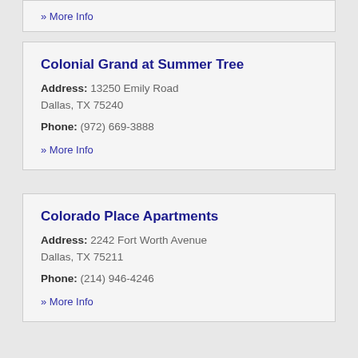» More Info
Colonial Grand at Summer Tree
Address: 13250 Emily Road Dallas, TX 75240
Phone: (972) 669-3888
» More Info
Colorado Place Apartments
Address: 2242 Fort Worth Avenue Dallas, TX 75211
Phone: (214) 946-4246
» More Info